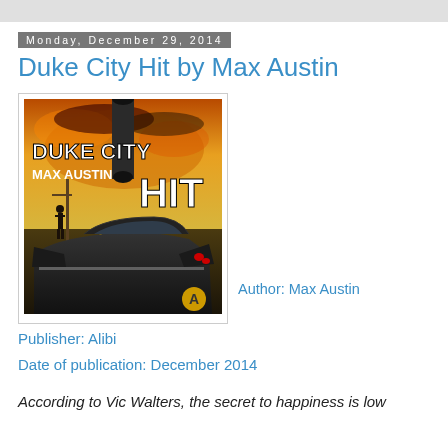Monday, December 29, 2014
Duke City Hit by Max Austin
[Figure (photo): Book cover for Duke City Hit by Max Austin showing a classic black car on a desert road with a gun barrel in the foreground and fiery sky background]
Author: Max Austin
Publisher: Alibi
Date of publication: December 2014
According to Vic Walters, the secret to happiness is low